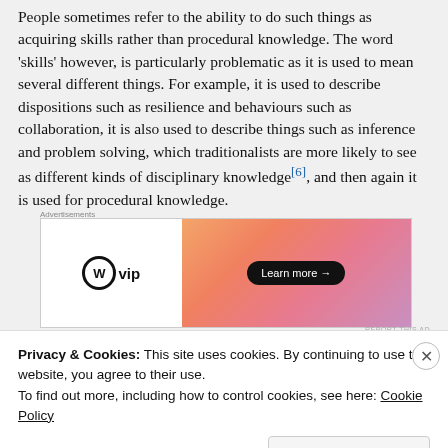People sometimes refer to the ability to do such things as acquiring skills rather than procedural knowledge. The word 'skills' however, is particularly problematic as it is used to mean several different things. For example, it is used to describe dispositions such as resilience and behaviours such as collaboration, it is also used to describe things such as inference and problem solving, which traditionalists are more likely to see as different kinds of disciplinary knowledge[6], and then again it is used for procedural knowledge.
[Figure (other): WordPress VIP advertisement banner with logo on left and orange-pink gradient with Learn more button on right]
The that learned to discriminate started the traditional discipline
Privacy & Cookies: This site uses cookies. By continuing to use this website, you agree to their use.
To find out more, including how to control cookies, see here: Cookie Policy